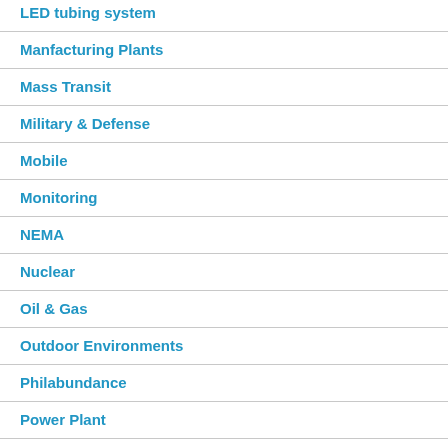LED tubing system
Manfacturing Plants
Mass Transit
Military & Defense
Mobile
Monitoring
NEMA
Nuclear
Oil & Gas
Outdoor Environments
Philabundance
Power Plant
relay for life
RFID Cooling